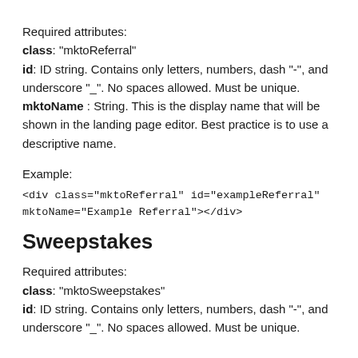Required attributes:
class: "mktoReferral"
id: ID string. Contains only letters, numbers, dash "-", and underscore "_". No spaces allowed. Must be unique.
mktoName : String. This is the display name that will be shown in the landing page editor. Best practice is to use a descriptive name.
Example:
<div class="mktoReferral" id="exampleReferral" mktoName="Example Referral"></div>
Sweepstakes
Required attributes:
class: "mktoSweepstakes"
id: ID string. Contains only letters, numbers, dash "-", and underscore "_". No spaces allowed. Must be unique.